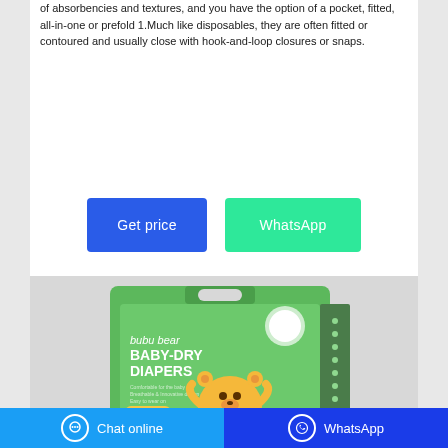of absorbencies and textures, and you have the option of a pocket, fitted, all-in-one or prefold 1.Much like disposables, they are often fitted or contoured and usually close with hook-and-loop closures or snaps.
[Figure (other): Two call-to-action buttons: a blue 'Get price' button and a green 'WhatsApp' button]
[Figure (photo): Product photo of 'bubu bear BABY-DRY DIAPERS' green packaging box showing 28 count diapers with a cartoon bear character]
Chat online | WhatsApp